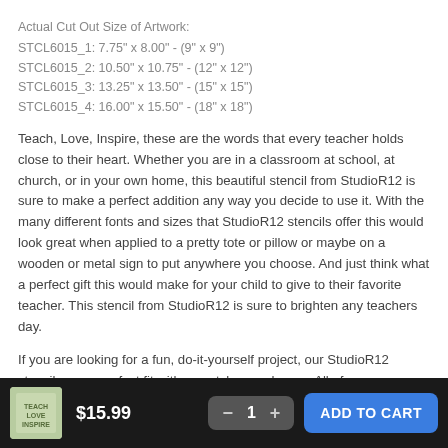Actual Cut Out Size of Artwork:
STCL6015_1: 7.75" x 8.00" - (9" x 9")
STCL6015_2: 10.50" x 10.75" - (12" x 12")
STCL6015_3: 13.25" x 13.50" - (15" x 15")
STCL6015_4: 16.00" x 15.50" - (18" x 18")
Teach, Love, Inspire, these are the words that every teacher holds close to their heart. Whether you are in a classroom at school, at church, or in your own home, this beautiful stencil from StudioR12 is sure to make a perfect addition any way you decide to use it. With the many different fonts and sizes that StudioR12 stencils offer this would look great when applied to a pretty tote or pillow or maybe on a wooden or metal sign to put anywhere you choose. And just think what a perfect gift this would make for your child to give to their favorite teacher. This stencil from StudioR12 is sure to brighten any teachers day.
If you are looking for a fun, do-it-yourself project, our StudioR12 stencils are a perfect fit with any style you choose. All of our StudioR12
$15.99  —  1  +  ADD TO CART